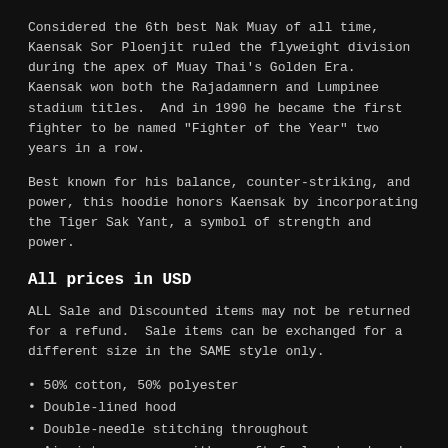Considered the 6th best Nak Muay of all time, Kaensak Sor Ploenjit ruled the flyweight division during the apex of Muay Thai's Golden Era.  Kaensak won both the Rajadamnern and Lumpinee stadium titles.  And in 1990 he became the first fighter to be named "Fighter of the Year" two years in a row.
Best known for his balance, counter-striking, and power, this hoodie honors Kaensak by incorporating the Tiger Sak Yant, a symbol of strength and power.
All prices in USD
ALL Sale and Discounted items may not be returned for a refund.  Sale items can be exchanged for a different size in the SAME style only.
50% cotton, 50% polyester
Double-lined hood
Double-needle stitching throughout
Air-jet spun yarn with a soft feel and reduced pilling
1x1 athletic rib knit cuffs and waistband with spandex
Front pouch pocket